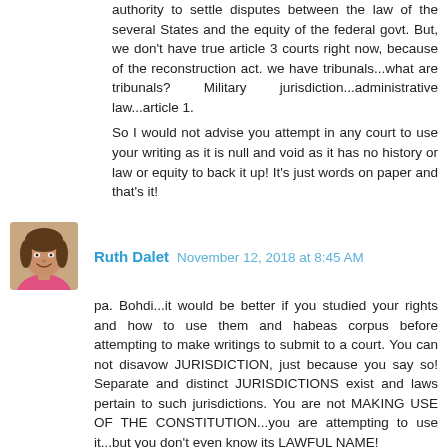authority to settle disputes between the law of the several States and the equity of the federal govt. But, we don't have true article 3 courts right now, because of the reconstruction act. we have tribunals...what are tribunals? Military jurisdiction...administrative law...article 1.
So I would not advise you attempt in any court to use your writing as it is null and void as it has no history or law or equity to back it up! It's just words on paper and that's it!
[Figure (photo): Avatar photo of Ruth Dalet, a woman smiling, wearing a pink top]
Ruth Dalet  November 12, 2018 at 8:45 AM
pa. Bohdi...it would be better if you studied your rights and how to use them and habeas corpus before attempting to make writings to submit to a court. You can not disavow JURISDICTION, just because you say so! Separate and distinct JURISDICTIONS exist and laws pertain to such jurisdictions. You are not MAKING USE OF THE CONSTITUTION...you are attempting to use it...but you don't even know its LAWFUL NAME!